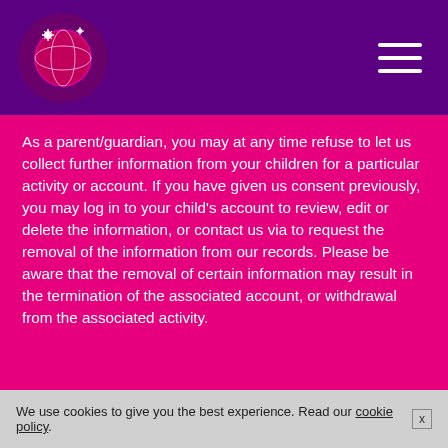[Figure (logo): Circular logo with a character on dark purple/magenta background]
As a parent/guardian, you may at any time refuse to let us collect further information from your children for a particular activity or account. If you have given us consent previously, you may log in to your child's account to review, edit or delete the information, or contact us via to request the removal of the information from our records. Please be aware that the removal of certain information may result in the termination of the associated account, or withdrawal from the associated activity.
We use cookies to give you the best experience. Read our cookie policy.